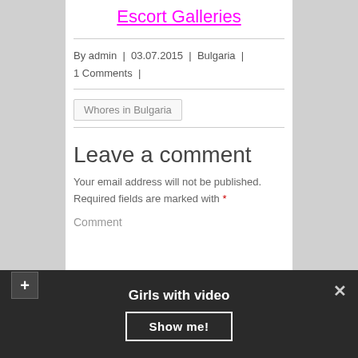Escort Galleries
By admin | 03.07.2015 | Bulgaria | 1 Comments |
Whores in Bulgaria
Leave a comment
Your email address will not be published. Required fields are marked with *
Comment
Girls with video
Show me!